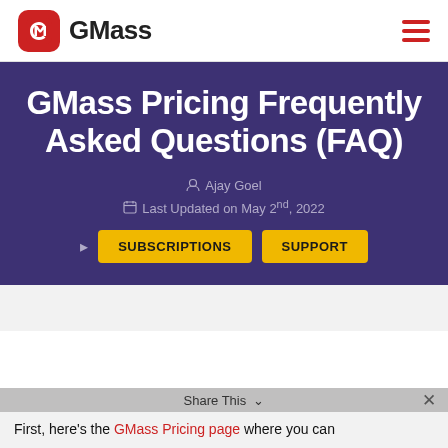GMass
GMass Pricing Frequently Asked Questions (FAQ)
Ajay Goel
Last Updated on May 2nd, 2022
SUBSCRIPTIONS   SUPPORT
Share This
First, here's the GMass Pricing page where you can